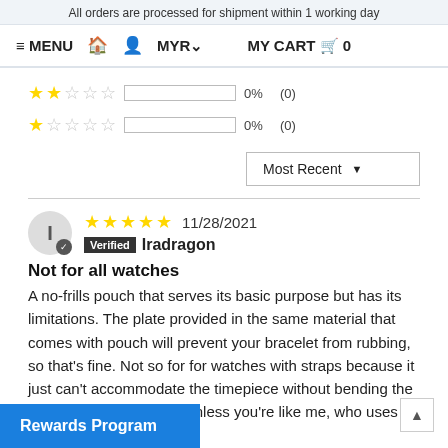All orders are processed for shipment within 1 working day
≡ MENU  🏠  👤  MYR▾     MY CART 🛒 0
★★☆☆☆  [bar]  0%  (0)
★☆☆☆☆  [bar]  0%  (0)
Most Recent ▼
I  ★★★★★ 11/28/2021  Verified Iradragon
Not for all watches
A no-frills pouch that serves its basic purpose but has its limitations. The plate provided in the same material that comes with pouch will prevent your bracelet from rubbing, so that's fine. Not so for for watches with straps because it just can't accommodate the timepiece without bending the longer end of the strap, unless you're like me, who uses customised straps that th.
Rewards Program